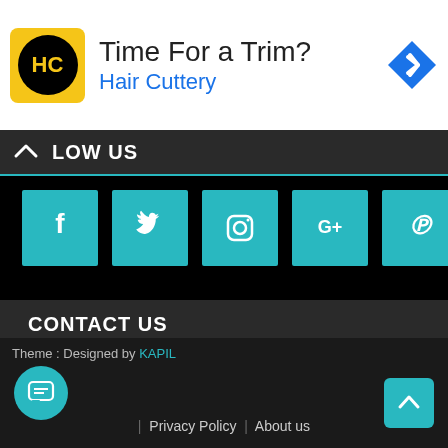[Figure (screenshot): Advertisement banner for Hair Cuttery: logo with HC text on yellow circle background, title 'Time For a Trim?', subtitle 'Hair Cuttery' in blue, and a blue diamond navigation arrow icon on the right.]
FOLLOW US
[Figure (infographic): Row of 5 teal square social media icon buttons: Facebook (f), Twitter (bird), Instagram (camera), Google+ (G+), Pinterest (P)]
CONTACT US
E-mail: admin@kfindtech.com
Theme : Designed by KAPIL | Privacy Policy | About us